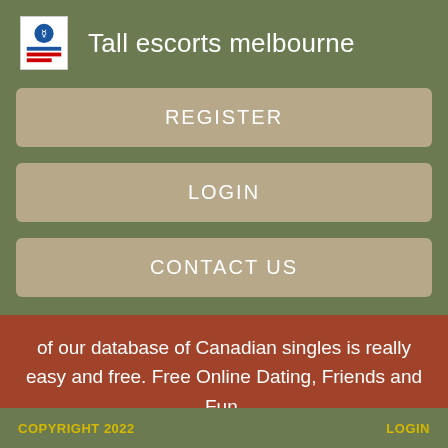[Figure (logo): Small white card logo with blue circle emblem and colored horizontal lines, representing a website/app logo]
Tall escorts melbourne
REGISTER
LOGIN
CONTACT US
of our database of Canadian singles is really easy and free. Free Online Dating, Friends and Fun.
COPYRIGHT 2022    LOGIN